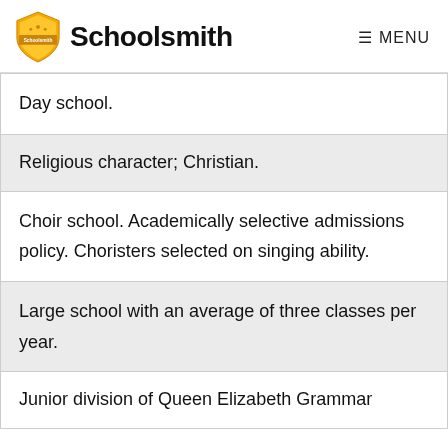Schoolsmith  MENU
Day school.
Religious character; Christian.
Choir school. Academically selective admissions policy. Choristers selected on singing ability.
Large school with an average of three classes per year.
Junior division of Queen Elizabeth Grammar